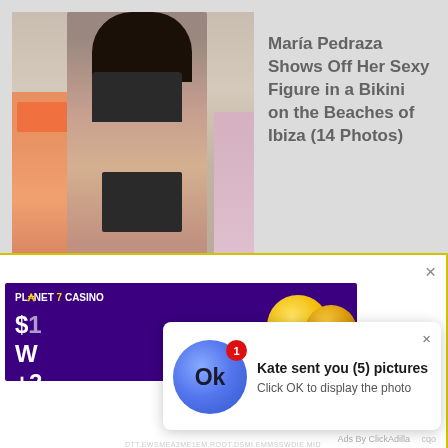[Figure (photo): A woman in a black bikini at a beach, with another person in an orange swimsuit visible to the left]
María Pedraza Shows Off Her Sexy Figure in a Bikini on the Beaches of Ibiza (14 Photos)
[Figure (screenshot): Advertisement overlay with a yellow border containing a Planet 7 Casino banner and a notification popup saying 'Kate sent you (5) pictures. Click OK to display the photo.' with an OK button circle and Ads By ClickAdilla attribution]